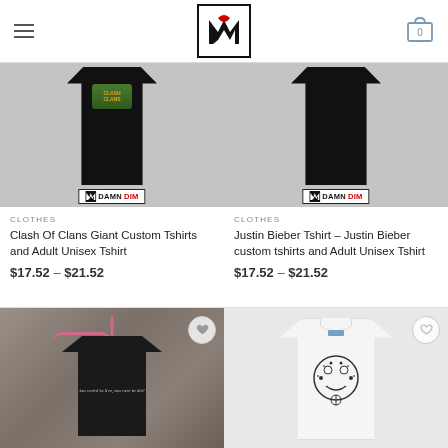DamnDim store header with logo and cart
[Figure (photo): Clash of Clans black t-shirt product image with DamnDim watermark]
CLOTHES
Clash Of Clans Giant Custom Tshirts and Adult Unisex Tshirt
$17.52 – $21.52
[Figure (photo): Justin Bieber black t-shirt product image with DamnDim watermark]
CLOTHES
Justin Bieber Tshirt – Justin Bieber custom tshirts and Adult Unisex Tshirt
$17.52 – $21.52
[Figure (photo): Black t-shirt on pink hanger with cursive text, hung against textured wall]
[Figure (photo): White t-shirt with illustrated dog/creature graphic design]